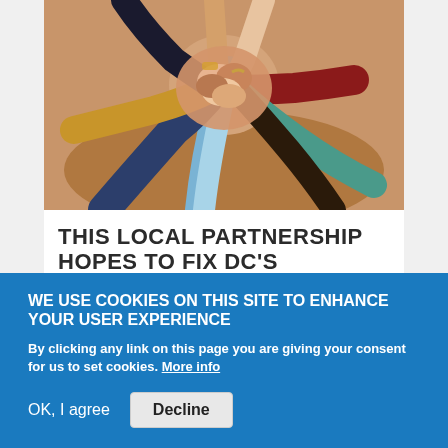[Figure (photo): Overhead view of diverse group of people with hands joined together in the center, forming a circle huddle. People wearing colorful clothing including blue, yellow/orange, red, and light blue.]
THIS LOCAL PARTNERSHIP HOPES TO FIX DC'S HOUSING SHORTAGE
By Al Earl / On November 29th, 2018
WE USE COOKIES ON THIS SITE TO ENHANCE YOUR USER EXPERIENCE
By clicking any link on this page you are giving your consent for us to set cookies. More info
OK, I agree
Decline